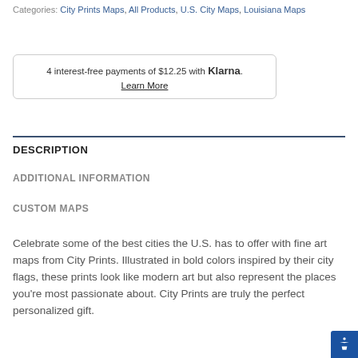Categories: City Prints Maps, All Products, U.S. City Maps, Louisiana Maps
4 interest-free payments of $12.25 with Klarna. Learn More
DESCRIPTION
ADDITIONAL INFORMATION
CUSTOM MAPS
Celebrate some of the best cities the U.S. has to offer with fine art maps from City Prints. Illustrated in bold colors inspired by their city flags, these prints look like modern art but also represent the places you’re most passionate about. City Prints are truly the perfect personalized gift.